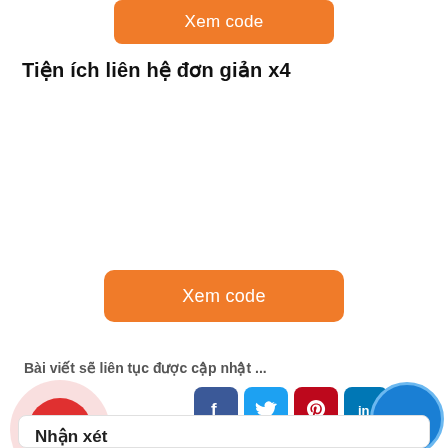[Figure (other): Orange button labeled 'Xem code' at top]
Tiện ích liên hệ đơn giản x4
[Figure (other): Orange button labeled 'Xem code' in middle]
Bài viết sẽ liên tục được cập nhật ...
[Figure (other): Phone call circle button on left, social media share icons (Facebook, Twitter, Pinterest, LinkedIn), Zalo circle button on right]
Nhận xét